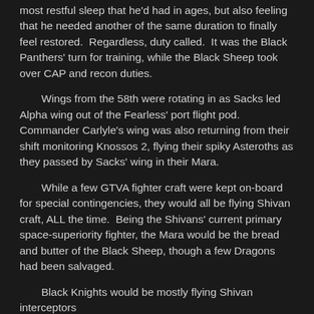most restful sleep that he'd had in ages, but also feeling that he needed another of the same duration to finally feel restored.  Regardless, duty called.  It was the Black Panthers' turn for training, while the Black Sheep took over CAP and recon duties.
Wings from the 58th were rotating in as Sacks led Alpha wing out of the Fearless' port flight pod.  Commander Carlyle's wing was also returning from their shift monitoring Knossos 2, flying their spiky Asteroths as they passed by Sacks' wing in their Mara.
While a few GTVA fighter craft were kept on-board for special contingencies, they would all be flying Shivan craft, ALL the time.  Being the Shivans' current primary space-superiority fighter, the Mara would be the bread and butter of the Black Sheep, though a few Dragons had been salvaged.
Black Knights would be mostly flying Shivan interceptors — their own text continues below...